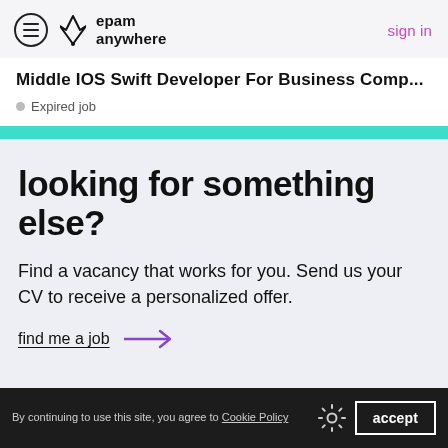epam anywhere — sign in
Middle IOS Swift Developer For Business Comp...
Expired job
looking for something else?
Find a vacancy that works for you. Send us your CV to receive a personalized offer.
find me a job →
By continuing to use this site, you agree to Cookie Policy  accept